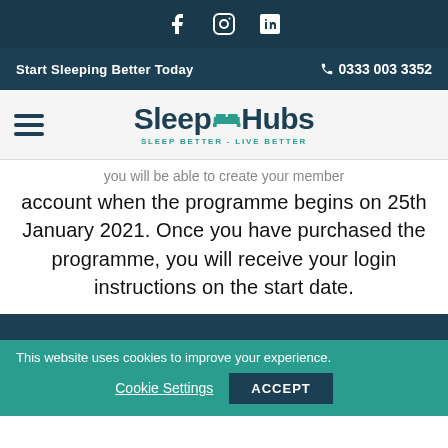Social icons: Facebook, Instagram, LinkedIn
Start Sleeping Better Today  0333 003 3352
[Figure (logo): SleepHubs logo with hamburger menu. Logo reads 'SleepHubs' with a bed icon between Sleep and Hubs. Tagline: SLEEP BETTER - LIVE BETTER]
...you will be able to create your member account when the programme begins on 25th January 2021. Once you have purchased the programme, you will receive your login instructions on the start date.
This website uses cookies to improve your experience.
Cookie Settings  ACCEPT